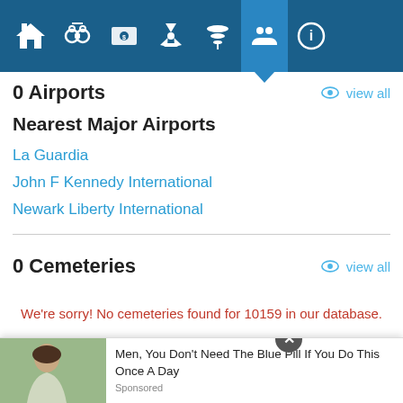[Figure (screenshot): Navigation bar with icons for different categories (home, handcuffs/crime, money, radiation/nuclear, tornado, people/community highlighted, info)]
0 Airports
Nearest Major Airports
La Guardia
John F Kennedy International
Newark Liberty International
0 Cemeteries
We're sorry! No cemeteries found for 10159 in our database.
0 FCC Towers
We're sorry! No fcc towers found for 10159 in our database.
0 Fire S...
[Figure (photo): Advertisement showing a woman with text: Men, You Don't Need The Blue Pill If You Do This Once A Day. Sponsored.]